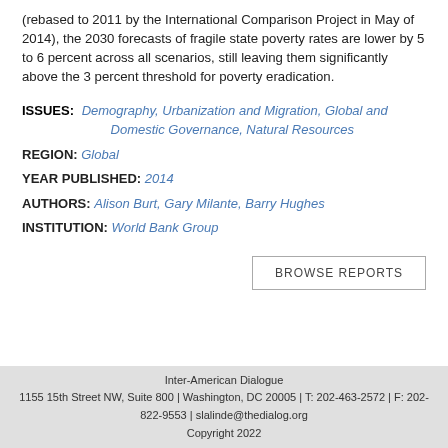(rebased to 2011 by the International Comparison Project in May of 2014), the 2030 forecasts of fragile state poverty rates are lower by 5 to 6 percent across all scenarios, still leaving them significantly above the 3 percent threshold for poverty eradication.
ISSUES: Demography, Urbanization and Migration, Global and Domestic Governance, Natural Resources
REGION: Global
YEAR PUBLISHED: 2014
AUTHORS: Alison Burt, Gary Milante, Barry Hughes
INSTITUTION: World Bank Group
BROWSE REPORTS
Inter-American Dialogue
1155 15th Street NW, Suite 800 | Washington, DC 20005 | T: 202-463-2572 | F: 202-822-9553 | slalinde@thedialog.org
Copyright 2022